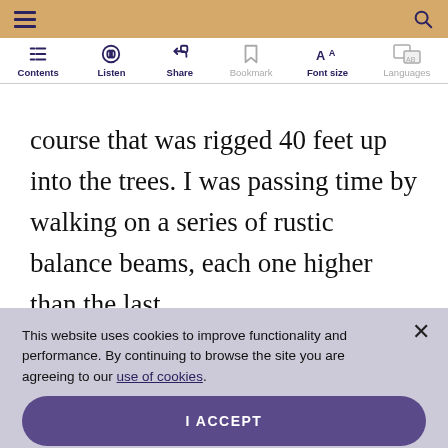Contents | Listen | Share | Bookmark | Font size | Languages
course that was rigged 40 feet up into the trees. I was passing time by walking on a series of rustic balance beams, each one higher than the last.
This website uses cookies to improve functionality and performance. By continuing to browse the site you are agreeing to our use of cookies.
I ACCEPT